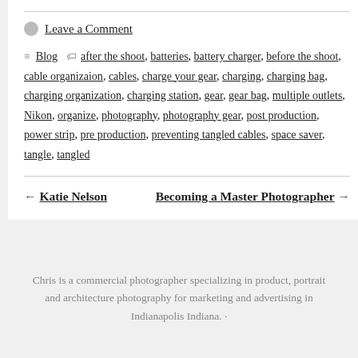Leave a Comment
Blog  after the shoot, batteries, battery charger, before the shoot, cable organizaion, cables, charge your gear, charging, charging bag, charging organization, charging station, gear, gear bag, multiple outlets, Nikon, organize, photography, photography gear, post production, power strip, pre production, preventing tangled cables, space saver, tangle, tangled
← Katie Nelson     Becoming a Master Photographer →
Chris is a commercial photographer specializing in product, portrait and architecture photography for marketing and advertising in Indianapolis Indiana. ·